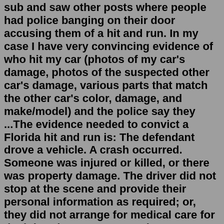sub and saw other posts where people had police banging on their door accusing them of a hit and run. In my case I have very convincing evidence of who hit my car (photos of my car's damage, photos of the suspected other car's damage, various parts that match the other car's color, damage, and make/model) and the police say they ...The evidence needed to convict a Florida hit and run is: The defendant drove a vehicle. A crash occurred. Someone was injured or killed, or there was property damage. The driver did not stop at the scene and provide their personal information as required; or, they did not arrange for medical care for the injured.LAUDERHILL, Fla. - A woman was hit and killed by a car in Lauderhill on Saturday morning as the driver sped away without stopping. According to Lauderhill police, the incident happened around 3: ...Posted by 2 hours ago. Recently was hit and run. Looking for legal advice. I was hit and run at 3:35AM on a Saturday night/Sunday Morning (7/31) at approximately 3:35 AM. Looking for legal advice, or